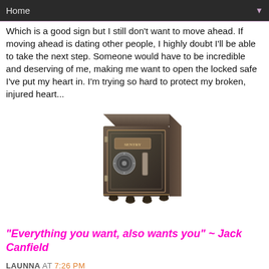Home
Which is a good sign but I still don't want to move ahead.  If moving ahead is dating other people, I highly doubt I'll be able to take the next step.  Someone would have to be incredible and deserving of me, making me want to open the locked safe I've put my heart in.  I'm trying so hard to protect my broken, injured heart...
[Figure (photo): A dark metallic combination lock safe with four small feet, photographed on a white background.]
"Everything you want, also wants you" ~ Jack Canfield
LAUNNA AT 7:26 PM